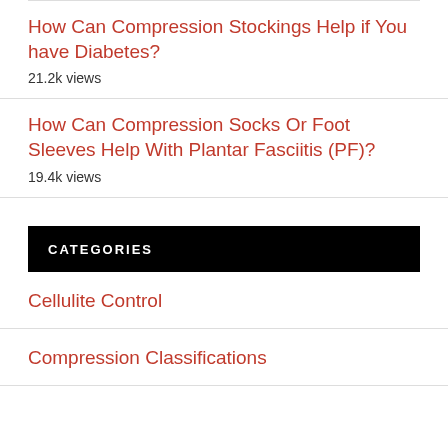How Can Compression Stockings Help if You have Diabetes?
21.2k views
How Can Compression Socks Or Foot Sleeves Help With Plantar Fasciitis (PF)?
19.4k views
CATEGORIES
Cellulite Control
Compression Classifications